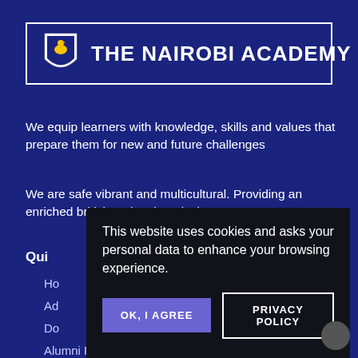[Figure (logo): The Nairobi Academy logo with shield/eagle emblem and text 'THE NAIROBI ACADEMY' inside a white-bordered rectangle on dark blue background]
We equip learners with knowledge, skills and values that prepare them for new and future challenges
We are safe vibrant and multicultural. Providing an enriched british national curriculum.
Quic[k Links]
Ho[me]
Ad[missions]
Do[wnloads]
Alumni Registration
This website uses cookies and asks your personal data to enhance your browsing experience.
OK, I AGREE
PRIVACY POLICY